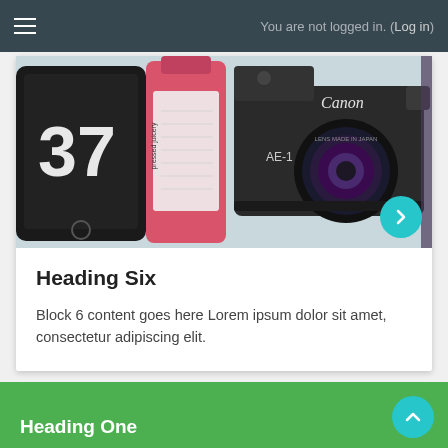You are not logged in. (Log in)
[Figure (photo): Photo showing a phone displaying number 37, a pressed juicery bottle, and a Canon AE-1 film camera on a light surface]
Heading Six
Block 6 content goes here Lorem ipsum dolor sit amet, consectetur adipiscing elit.
Heading One